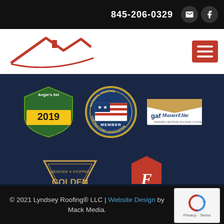845-206-0329
[Figure (logo): Lyndsey Roofing red roof logo]
[Figure (logo): Angie's List 2019 Super Service Award badge]
[Figure (logo): National Roofing Contractors Association Member seal]
[Figure (logo): GAF Master Elite roofing contractor logo]
[Figure (logo): WeatherStopper Golden Pledge warranty logo]
[Figure (logo): Firestone Building Products logo]
© 2021 Lyndsey Roofing® LLC | Website Design by Mack Media.